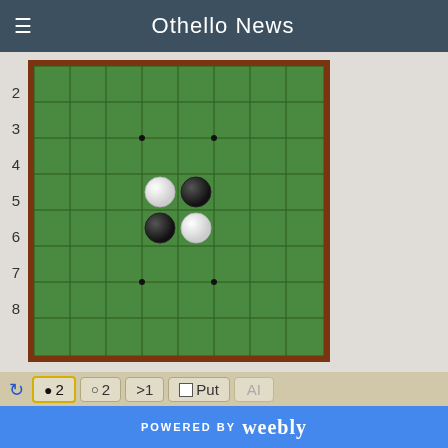Othello News
[Figure (other): Othello/Reversi game board showing an 8x8 green grid with row numbers 2-8 visible. Black and white game pieces placed in center: white at d4, black at e4, black at d5, white at e5. Star points visible at d3, f3, d7, f7. Board has brown wooden border.]
[Figure (screenshot): Game control interface with buttons: black disc count '2' (highlighted with yellow border), white disc count '2', '>1', 'Put' with white square, 'AI' (grayed out), navigation buttons |<, <<, diag., >>, >|, refresh icon, checkbox checked, empty checkbox]
Andreas Jörgensen 24 - 40 Trees van Seggelen Division 6a
POWERED BY weebly